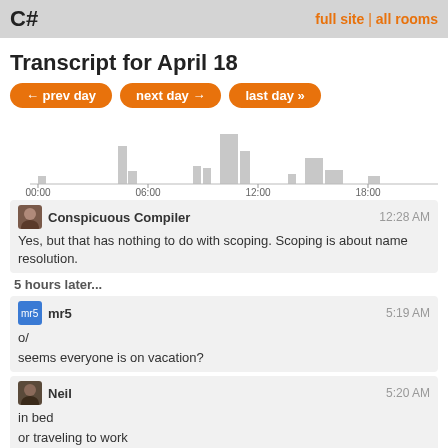C#    full site | all rooms
Transcript for April 18
← prev day
next day →
last day »
[Figure (bar-chart): Message activity by hour]
Conspicuous Compiler   12:28 AM
Yes, but that has nothing to do with scoping. Scoping is about name resolution.
5 hours later...
mr5   5:19 AM
o/
seems everyone is on vacation?
Neil   5:20 AM
in bed
or traveling to work
as I would be doing if there weren't a release to production this morning
ntohl   6:15 AM
good morning